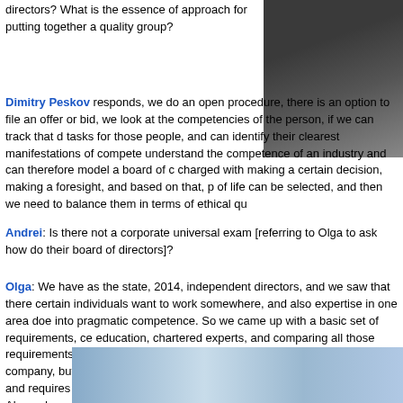directors? What is the essence of approach for putting together a quality group?
Dimitry Peskov responds, we do an open procedure, there is an option to file an offer or bid, we look at the competencies of the person, if we can track that d tasks for those people, and can identify their clearest manifestations of compete understand the competence of an industry and can therefore model a board of c charged with making a certain decision, making a foresight, and based on that, p of life can be selected, and then we need to balance them in terms of ethical qu
[Figure (photo): Partial photo of person in dark clothing, cropped upper body]
Andrei: Is there not a corporate universal exam [referring to Olga to ask how do their board of directors]?
Olga: We have as the state, 2014, independent directors, and we saw that there certain individuals want to work somewhere, and also expertise in one area doe into pragmatic competence. So we came up with a basic set of requirements, ce education, chartered experts, and comparing all those requirements, and lookin economic experience within the requirements of a company, but government rec universal approach to the selection process, and requires having a system put in laws of professional conduct. Alexander, what advice would you give to corporat investors?
[Figure (photo): Photo of building with blue glass windows/facade]